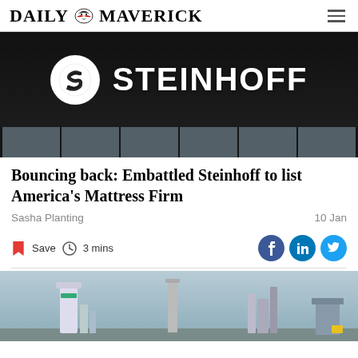DAILY MAVERICK
[Figure (photo): Steinhoff company sign on a dark building facade with the Steinhoff logo (circular S emblem) and the word STEINHOFF in large white letters]
Bouncing back: Embattled Steinhoff to list America’s Mattress Firm
Sasha Planting
10 Jan
Save  3 mins
[Figure (photo): Industrial facility with tall chimneys and structures against a grey sky]